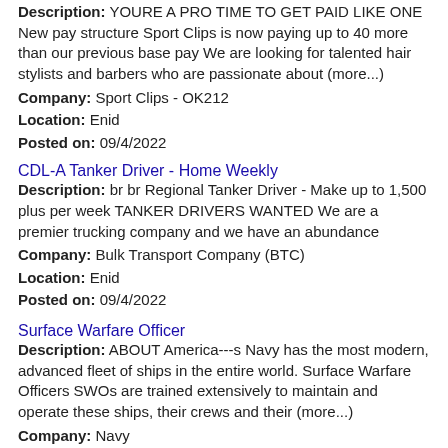Description: YOURE A PRO TIME TO GET PAID LIKE ONE New pay structure Sport Clips is now paying up to 40 more than our previous base pay We are looking for talented hair stylists and barbers who are passionate about (more...)
Company: Sport Clips - OK212
Location: Enid
Posted on: 09/4/2022
CDL-A Tanker Driver - Home Weekly
Description: br br Regional Tanker Driver - Make up to 1,500 plus per week TANKER DRIVERS WANTED We are a premier trucking company and we have an abundance
Company: Bulk Transport Company (BTC)
Location: Enid
Posted on: 09/4/2022
Surface Warfare Officer
Description: ABOUT America---s Navy has the most modern, advanced fleet of ships in the entire world. Surface Warfare Officers SWOs are trained extensively to maintain and operate these ships, their crews and their (more...)
Company: Navy
Location: Enid
Posted on: 09/4/2022